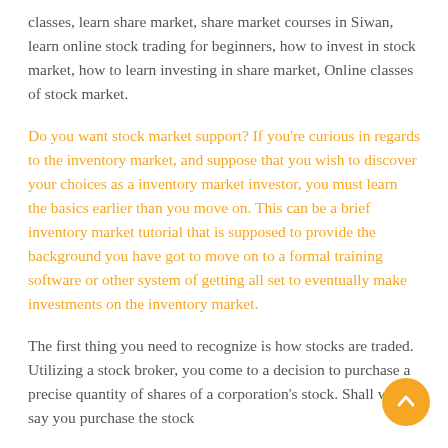classes, learn share market, share market courses in Siwan, learn online stock trading for beginners, how to invest in stock market, how to learn investing in share market, Online classes of stock market.
Do you want stock market support? If you're curious in regards to the inventory market, and suppose that you wish to discover your choices as a inventory market investor, you must learn the basics earlier than you move on. This can be a brief inventory market tutorial that is supposed to provide the background you have got to move on to a formal training software or other system of getting all set to eventually make investments on the inventory market.
The first thing you need to recognize is how stocks are traded. Utilizing a stock broker, you come to a decision to purchase a precise quantity of shares of a corporation's stock. Shall we say you purchase the stock at $5 to five. For example let me say person that stock